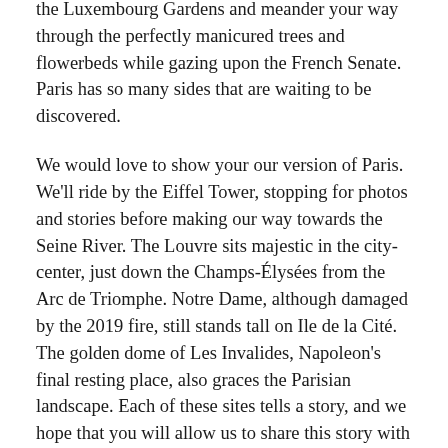the Luxembourg Gardens and meander your way through the perfectly manicured trees and flowerbeds while gazing upon the French Senate. Paris has so many sides that are waiting to be discovered.
We would love to show your our version of Paris. We'll ride by the Eiffel Tower, stopping for photos and stories before making our way towards the Seine River. The Louvre sits majestic in the city-center, just down the Champs-Élysées from the Arc de Triomphe. Notre Dame, although damaged by the 2019 fire, still stands tall on Ile de la Cité. The golden dome of Les Invalides, Napoleon's final resting place, also graces the Parisian landscape. Each of these sites tells a story, and we hope that you will allow us to share this story with you.
Our Paris Day Bike Tour helps you get acquainted with the city, but its a great half-day tour for those new to Paris as well as veterans. Cruising on a comfortable city bike, Paris seems to spring to life. Our Night Bike Tour offers a different feel, as we head into the heart of the Latin Quarter to get a taste of